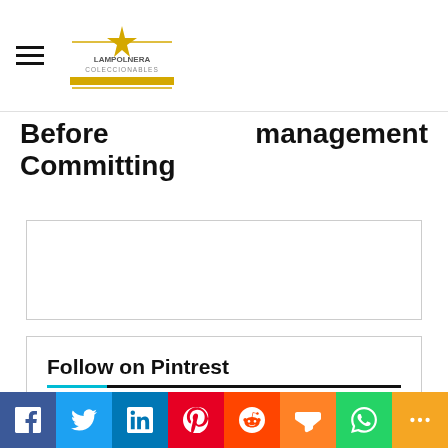Lampolnera Coleccionables
Before Committing
management
[Figure (other): Empty advertisement box with light border]
Follow on Pintrest
[Figure (other): Pinterest follow button stub]
[Figure (infographic): Social sharing bar with icons: Facebook, Twitter, LinkedIn, Pinterest, Reddit, Mix, WhatsApp, More]